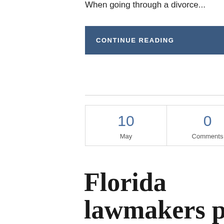When going through a divorce...
CONTINUE READING >
| 10 May | 0 Comments | Share |
| --- | --- | --- |
Florida lawmakers push for new law that could alter